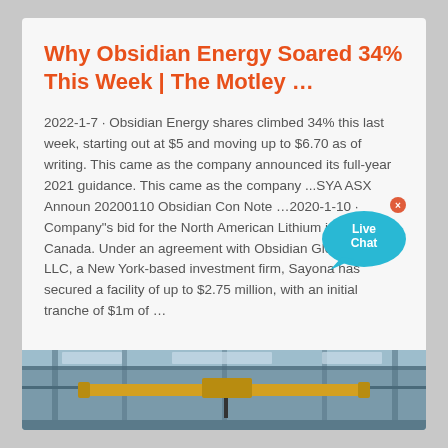Why Obsidian Energy Soared 34% This Week | The Motley …
2022-1-7 · Obsidian Energy shares climbed 34% this last week, starting out at $5 and moving up to $6.70 as of writing. This came as the company announced its full-year 2021 guidance. This came as the company ...SYA ASX Announ 20200110 Obsidian Con Note …2020-1-10 · Company"s bid for the North American Lithium in Québec, Canada. Under an agreement with Obsidian Global GP, LLC, a New York-based investment firm, Sayona has secured a facility of up to $2.75 million, with an initial tranche of $1m of …
[Figure (photo): Industrial warehouse interior showing overhead crane equipment with yellow beam and steel ceiling structure]